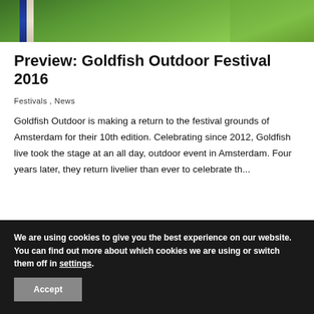[Figure (photo): Green hillside outdoor landscape photo with a pole/sign visible on the left side]
Preview: Goldfish Outdoor Festival 2016
Festivals , News
Goldfish Outdoor is making a return to the festival grounds of Amsterdam for their 10th edition. Celebrating since 2012, Goldfish live took the stage at an all day, outdoor event in Amsterdam. Four years later, they return livelier than ever to celebrate th...
[Figure (photo): Partial photo visible at the bottom of the main content area]
We are using cookies to give you the best experience on our website.
You can find out more about which cookies we are using or switch them off in settings.
Accept